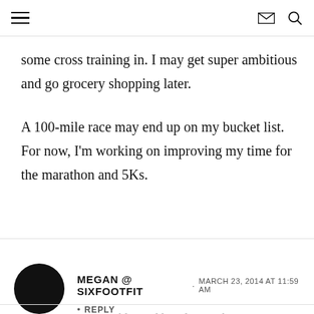[hamburger menu] [envelope icon] [search icon]
some cross training in. I may get super ambitious and go grocery shopping later.
A 100-mile race may end up on my bucket list. For now, I'm working on improving my time for the marathon and 5Ks.
MEGAN @ SIXFOOTFIT · MARCH 23, 2014 AT 11:59 AM
• REPLY
I've seen Les Miserables and loved it! Such an amazing